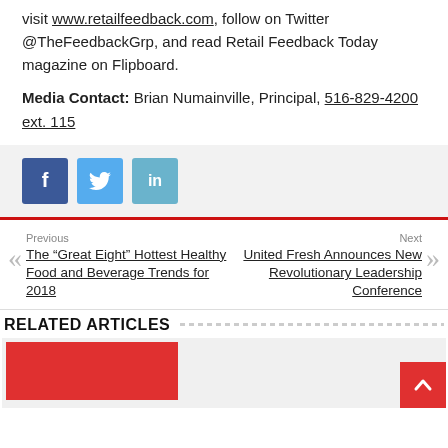visit www.retailfeedback.com, follow on Twitter @TheFeedbackGrp, and read Retail Feedback Today magazine on Flipboard.
Media Contact: Brian Numainville, Principal, 516-829-4200 ext. 115
[Figure (other): Social share buttons: Facebook (blue), Twitter (light blue), LinkedIn (teal)]
Previous: The “Great Eight” Hottest Healthy Food and Beverage Trends for 2018
Next: United Fresh Announces New Revolutionary Leadership Conference
RELATED ARTICLES
[Figure (photo): Red image card for a related article]